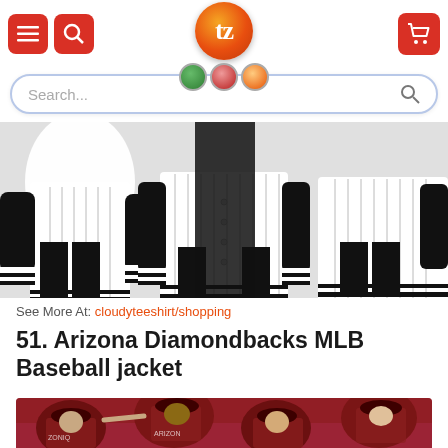Tezostees website header with menu, search and cart icons
[Figure (screenshot): Search bar with placeholder text 'Search...']
[Figure (photo): Baseball jackets product image showing multiple white pinstripe baseball jackets with black trim]
See More At: cloudyteeshirt/shopping
51. Arizona Diamondbacks MLB Baseball jacket
[Figure (photo): Arizona Diamondbacks baseball players in dark red/maroon uniforms celebrating on field]